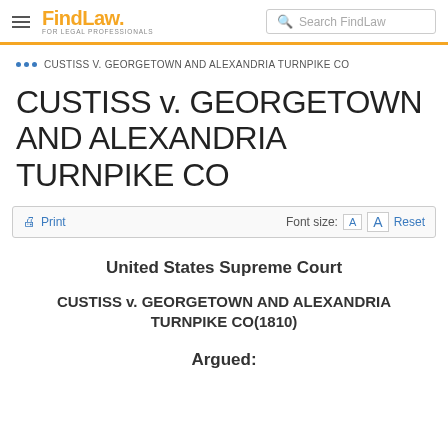FindLaw FOR LEGAL PROFESSIONALS | Search FindLaw
CUSTISS V. GEORGETOWN AND ALEXANDRIA TURNPIKE CO
CUSTISS v. GEORGETOWN AND ALEXANDRIA TURNPIKE CO
Print | Font size: A A Reset
United States Supreme Court
CUSTISS v. GEORGETOWN AND ALEXANDRIA TURNPIKE CO(1810)
Argued: